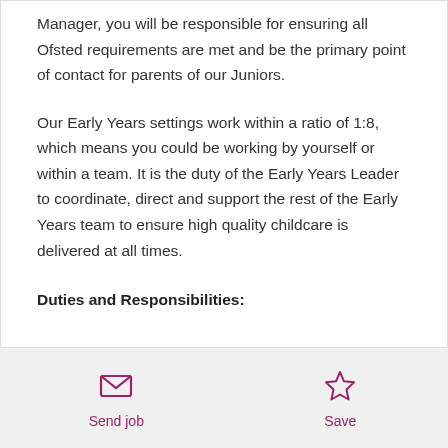Manager, you will be responsible for ensuring all Ofsted requirements are met and be the primary point of contact for parents of our Juniors.
Our Early Years settings work within a ratio of 1:8, which means you could be working by yourself or within a team. It is the duty of the Early Years Leader to coordinate, direct and support the rest of the Early Years team to ensure high quality childcare is delivered at all times.
Duties and Responsibilities:
Send job
Save